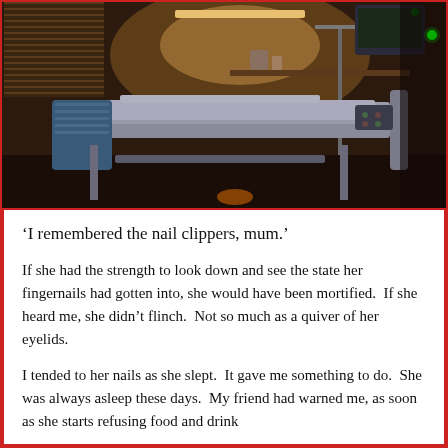[Figure (photo): Dark hospital room at night with an empty adjustable hospital bed, medical equipment, IV stand, monitor, and a shelf with items lit by overhead light. A blue blanket rests on the bed rail.]
‘I remembered the nail clippers, mum.’
If she had the strength to look down and see the state her fingernails had gotten into, she would have been mortified.  If she heard me, she didn’t flinch.  Not so much as a quiver of her eyelids.
I tended to her nails as she slept.  It gave me something to do.  She was always asleep these days.  My friend had warned me, as soon as she starts refusing food and drink